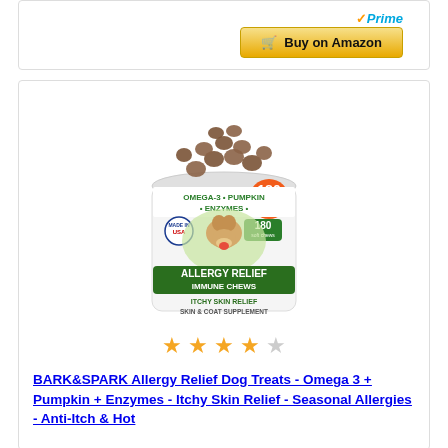[Figure (screenshot): Buy on Amazon button with Prime logo]
BESTSELLER NO. 9
SALE
[Figure (photo): BARK&SPARK Allergy Relief Dog Treats product container showing 180 soft chews with Omega-3, Pumpkin, Enzymes, featuring a golden retriever dog image, Made in USA badge, green Allergy Relief Immune Chews label, Itchy Skin Relief, Skin & Coat Supplement text]
★★★★☆
BARK&SPARK Allergy Relief Dog Treats - Omega 3 + Pumpkin + Enzymes - Itchy Skin Relief - Seasonal Allergies - Anti-Itch & Hot